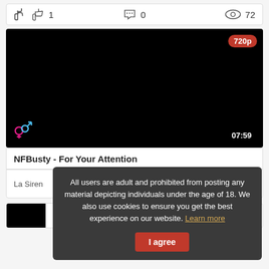[Figure (screenshot): Social media post stats bar showing thumbs up icon with count 1, comment icon with count 0, and eye/view icon with count 72]
[Figure (screenshot): Black video player thumbnail with 720p quality badge in top right and 07:59 duration badge in bottom right, gender symbol icon in bottom left]
NFBusty - For Your Attention
La Siren
0
All users are adult and prohibited from posting any material depicting individuals under the age of 18. We also use cookies to ensure you get the best experience on our website. Learn more  I agree